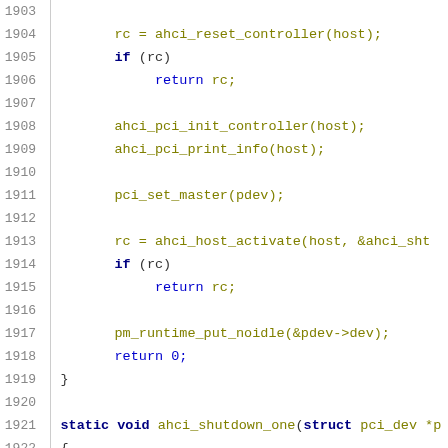[Figure (screenshot): Source code listing in C showing lines 1903-1924 of a Linux kernel AHCI driver file. Dark-on-light syntax highlighted code with line numbers on left. Functions include ahci_reset_controller, ahci_pci_init_controller, ahci_pci_print_info, pci_set_master, ahci_host_activate, pm_runtime_put_noidle, ahci_shutdown_one, ata_pci_shutdown_one.]